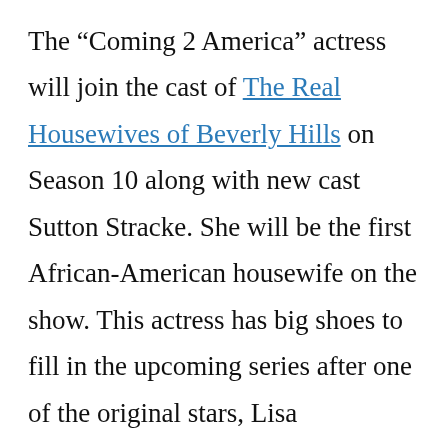The “Coming 2 America” actress will join the cast of The Real Housewives of Beverly Hills on Season 10 along with new cast Sutton Stracke. She will be the first African-American housewife on the show. This actress has big shoes to fill in the upcoming series after one of the original stars, Lisa Vanderpump, left.
https://youtu.be/gxj9Afa3VLs
Caption:- Garcelle Beauvais declaring she is